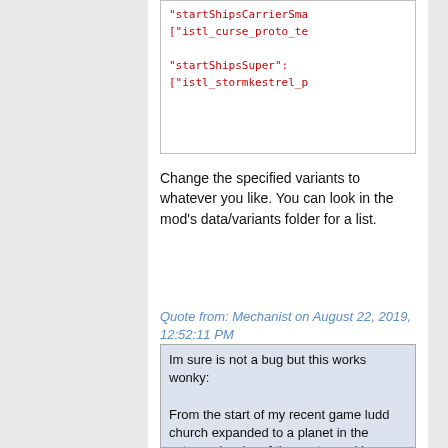[Figure (screenshot): Code snippet showing startShipsCarrierSma and istl_curse_proto_te lines, and startShipsSuper and istl_stormkestrel_p lines in red monospace text on white background]
Change the specified variants to whatever you like. You can look in the mod's data/variants folder for a list.
Quote from: Mechanist on August 22, 2019, 12:52:11 PM
Im sure is not a bug but this works wonky:

From the start of my recent game ludd church expanded to a planet in the extreme border of the sector and im using a 1.5 bigger sector so is like almost 50 ly from core worlds.
The thing is somehow this planet is SO NEEDY that 6 of 7 (somethimes more) bar carry-cargo missions are there and im conteplating carpet bombing of the entire sector cause i cant make my normal shenanigans